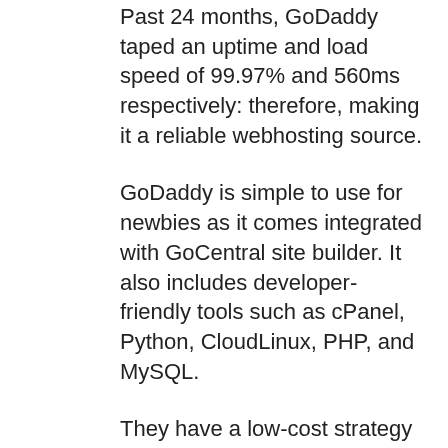Past 24 months, GoDaddy taped an uptime and load speed of 99.97% and 560ms respectively: therefore, making it a reliable webhosting source.
GoDaddy is simple to use for newbies as it comes integrated with GoCentral site builder. It also includes developer-friendly tools such as cPanel, Python, CloudLinux, PHP, and MySQL.
They have a low-cost strategy that opts for a month-to-month fee of $4.50 and a month-to-month renewal cost of $8.99. For sophisticated convenience, the web hosting strategy comes including DDOS security, unmetered bandwidth, and a 100 GB website storage. Nevertheless, this